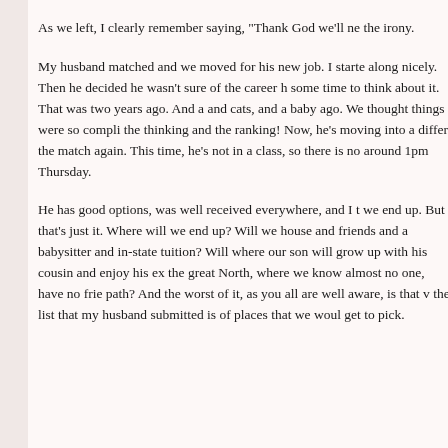As we left, I clearly remember saying, "Thank God we'll ne the irony.
My husband matched and we moved for his new job. I starte along nicely. Then he decided he wasn't sure of the career h some time to think about it. That was two years ago. And a and cats, and a baby ago. We thought things were so compli the thinking and the ranking! Now, he's moving into a diffe the match again. This time, he's not in a class, so there is no around 1pm Thursday.
He has good options, was well received everywhere, and I t we end up. But that's just it. Where will we end up? Will we house and friends and a babysitter and in-state tuition? Will where our son will grow up with his cousin and enjoy his e the great North, where we know almost no one, have no frie path? And the worst of it, as you all are well aware, is that v the list that my husband submitted is of places that we woul get to pick.